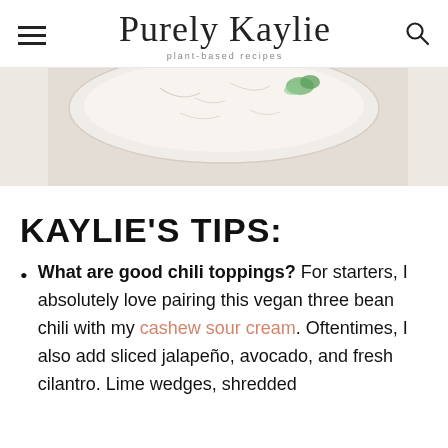Purely Kaylie — plant-based recipes
[Figure (photo): Top-down view of a white ceramic dish with food and fresh herbs, on a white background]
KAYLIE'S TIPS:
What are good chili toppings? For starters, I absolutely love pairing this vegan three bean chili with my cashew sour cream. Oftentimes, I also add sliced jalapeño, avocado, and fresh cilantro. Lime wedges, shredded